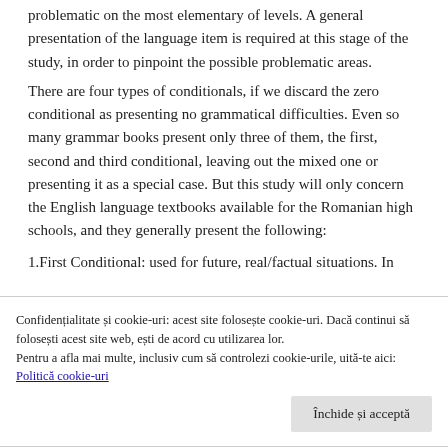problematic on the most elementary of levels. A general presentation of the language item is required at this stage of the study, in order to pinpoint the possible problematic areas.
There are four types of conditionals, if we discard the zero conditional as presenting no grammatical difficulties. Even so many grammar books present only three of them, the first, second and third conditional, leaving out the mixed one or presenting it as a special case. But this study will only concern the English language textbooks available for the Romanian high schools, and they generally present the following:
1.First Conditional: used for future, real/factual situations. In
Confidențialitate și cookie-uri: acest site folosește cookie-uri. Dacă continui să folosești acest site web, ești de acord cu utilizarea lor.
Pentru a afla mai multe, inclusiv cum să controlezi cookie-urile, uită-te aici:
Politică cookie-uri
Închide și acceptă